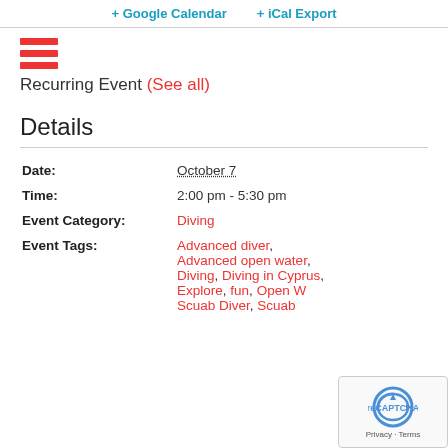+ Google Calendar   + iCal Export
[Figure (other): Hamburger menu icon with three red horizontal bars]
Recurring Event (See all)
Details
| Date: | October 7 |
| Time: | 2:00 pm - 5:30 pm |
| Event Category: | Diving |
| Event Tags: | Advanced diver, Advanced open water, Diving, Diving in Cyprus, Explore, fun, Open W... Scuab Diver, Scuab... |